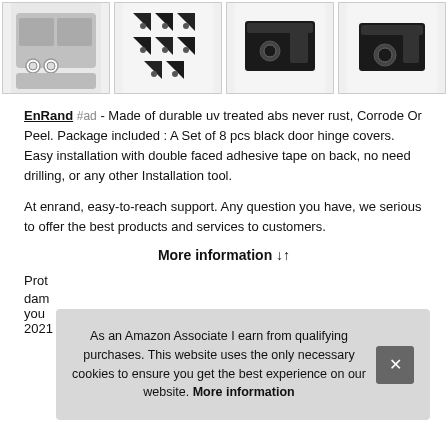[Figure (photo): Four product images in a row: Jeep with door hinge covers installed, set of black plastic hinge cover pieces, single black hinge bracket closeup, another black bracket closeup]
EnRand #ad - Made of durable uv treated abs never rust, Corrode Or Peel. Package included : A Set of 8 pcs black door hinge covers. Easy installation with double faced adhesive tape on back, no need drilling, or any other Installation tool.
At enrand, easy-to-reach support. Any question you have, we serious to offer the best products and services to customers.
More information
Prot… dam… you…
2021 jeep wrangler jl JLU Sports Sahara Freedom Rubicon
As an Amazon Associate I earn from qualifying purchases. This website uses the only necessary cookies to ensure you get the best experience on our website. More information